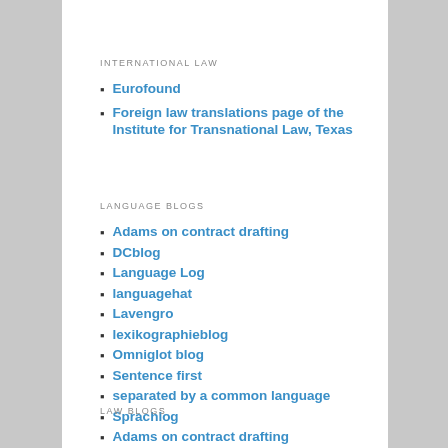INTERNATIONAL LAW
Eurofound
Foreign law translations page of the Institute for Transnational Law, Texas
LANGUAGE BLOGS
Adams on contract drafting
DCblog
Language Log
languagehat
Lavengro
lexikographieblog
Omniglot blog
Sentence first
separated by a common language
Sprachlog
LAW BLOGS
Adams on contract drafting